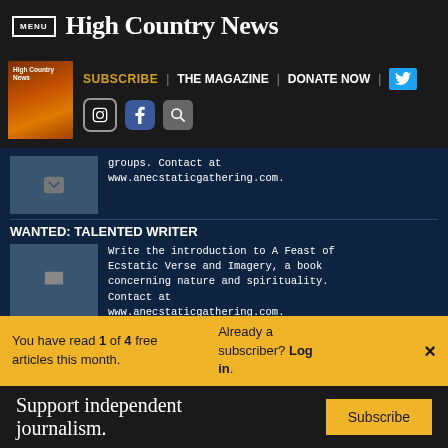MENU | High Country News
SUBSCRIBE | THE MAGAZINE | DONATE NOW
groups. Contact at www.anecstaticgathering.com.
WANTED: TALENTED WRITER
Write the introduction to A Feast of Ecstatic Verse and Imagery, a book concerning nature and spirituality. Contact at www.anecstaticgathering.com. Writer who works for
You have read 1 of 4 free articles this month. Already a subscriber? Log in.
Support independent journalism. Subscribe